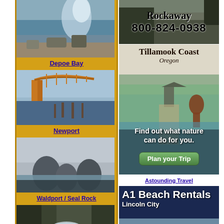[Figure (photo): Coastal waves crashing against rocky shore at Depoe Bay Oregon]
Depoe Bay
[Figure (photo): Newport Oregon bridge over bay with piers]
Newport
[Figure (photo): Rocky sea stacks at Waldport Seal Rock Oregon coast]
Waldport / Seal Rock
[Figure (photo): Waterfall or tidal surge on Oregon coast]
[Figure (infographic): Rockaway Beach ad with phone number 800-824-0938]
[Figure (infographic): Tillamook Coast Oregon ad with Find out what nature can do for you and Plan your Trip button]
Astounding Travel
[Figure (infographic): A1 Beach Rentals Lincoln City ad with beach chairs photo]
[Figure (infographic): The First in Fun banner ad]